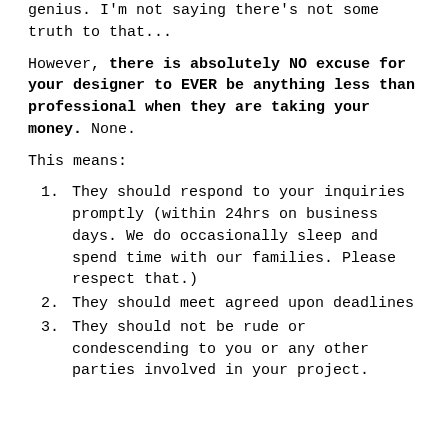genius. I'm not saying there's not some truth to that...
However, there is absolutely NO excuse for your designer to EVER be anything less than professional when they are taking your money. None.
This means:
They should respond to your inquiries promptly (within 24hrs on business days. We do occasionally sleep and spend time with our families. Please respect that.)
They should meet agreed upon deadlines
They should not be rude or condescending to you or any other parties involved in your project.